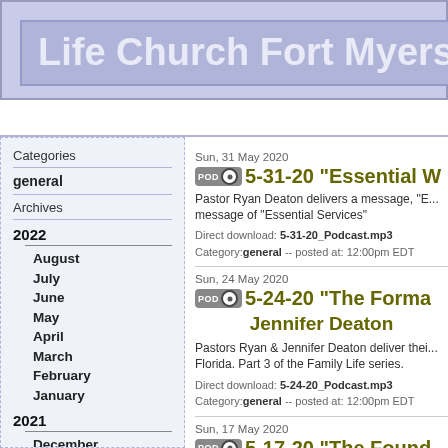Life Church Fort Myers
Categories
general
Archives
2022
August
July
June
May
April
March
February
January
2021
December
November
October
September
August
Sun, 31 May 2020
5-31-20 "Essential W
Pastor Ryan Deaton delivers a message, "E... message of "Essential Services"
Direct download: 5-31-20_Podcast.mp3
Category: general -- posted at: 12:00pm EDT
Sun, 24 May 2020
5-24-20 "The Forma... Jennifer Deaton
Pastors Ryan & Jennifer Deaton deliver thei... Florida. Part 3 of the Family Life series.
Direct download: 5-24-20_Podcast.mp3
Category: general -- posted at: 12:00pm EDT
Sun, 17 May 2020
5-17-20 "The Found... Jennifer Deaton